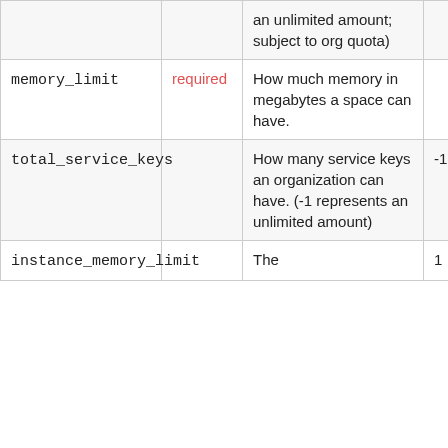|  |  | an unlimited amount; subject to org quota) |  |
| memory_limit | required | How much memory in megabytes a space can have. |  |
| total_service_keys |  | How many service keys an organization can have. (-1 represents an unlimited amount) | -1 |
| instance_memory_limit |  | The | 1 |